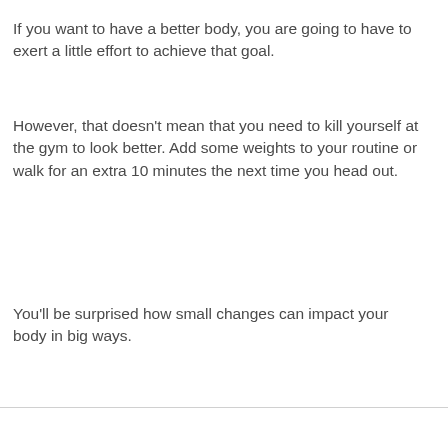If you want to have a better body, you are going to have to exert a little effort to achieve that goal.
However, that doesn’t mean that you need to kill yourself at the gym to look better. Add some weights to your routine or walk for an extra 10 minutes the next time you head out.
You’ll be surprised how small changes can impact your body in big ways.